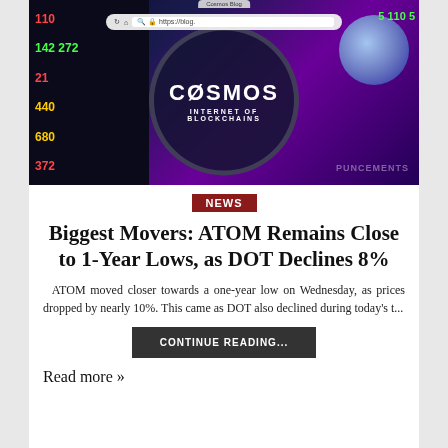[Figure (screenshot): Hero image showing Cosmos 'Internet of Blockchains' logo under a magnifier glass, overlaid on stock market chart background, with a browser address bar showing https://blog... and a browser tab reading 'Cosmos Blog']
NEWS
Biggest Movers: ATOM Remains Close to 1-Year Lows, as DOT Declines 8%
ATOM moved closer towards a one-year low on Wednesday, as prices dropped by nearly 10%. This came as DOT also declined during today's t...
CONTINUE READING...
Read more »